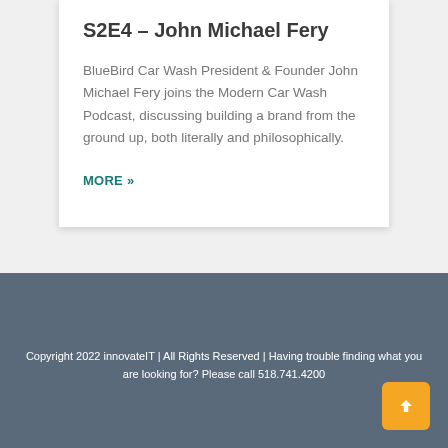S2E4 – John Michael Fery
BlueBird Car Wash President & Founder John Michael Fery joins the Modern Car Wash Podcast, discussing building a brand from the ground up, both literally and philosophically.
MORE »
Copyright 2022 innovateIT | All Rights Reserved | Having trouble finding what you are looking for? Please call 518.741.4200